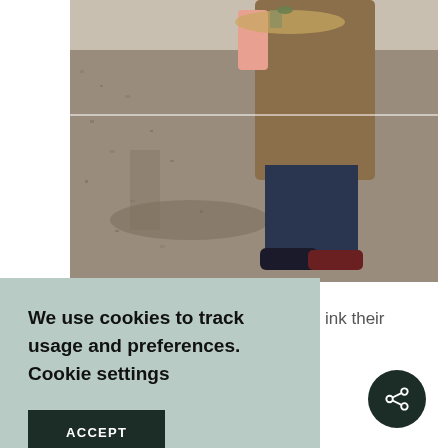[Figure (photo): A person wearing a brown coat and jeans standing on gravelly ground, appearing to hold a tray with items on it. The lower half of their body is visible, wearing dark sneakers.]
ink their
We use cookies to track usage and preferences. Cookie settings
ACCEPT